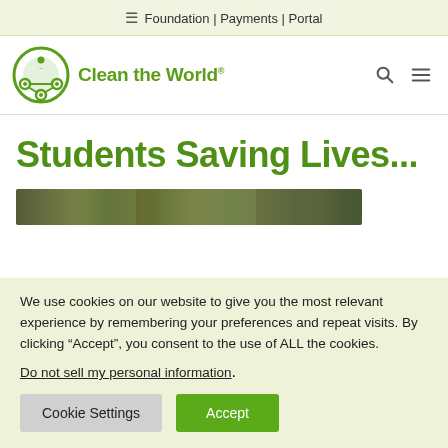≡ Foundation | Payments | Portal
[Figure (logo): Clean the World logo - green circular icon with human figure and recycling symbols, with text 'Clean the World']
Students Saving Lives...
[Figure (photo): Partial photo strip showing students, partially obscured by cookie consent banner]
We use cookies on our website to give you the most relevant experience by remembering your preferences and repeat visits. By clicking “Accept”, you consent to the use of ALL the cookies.
Do not sell my personal information.
Cookie Settings | Accept